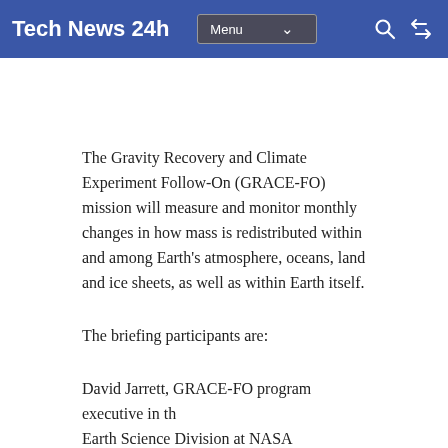Tech News 24h  Menu  🔍 ⇌
The Gravity Recovery and Climate Experiment Follow-On (GRACE-FO) mission will measure and monitor monthly changes in how mass is redistributed within and among Earth's atmosphere, oceans, land and ice sheets, as well as within Earth itself.
The briefing participants are:
David Jarrett, GRACE-FO program executive in the Earth Science Division at NASA Headquarters Michael Watkins, GRACE-FO science lead and director of NASA's Jet Propulsion Laboratory (JPL)